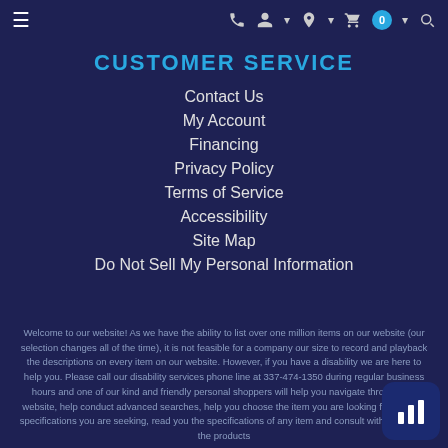≡  📞  👤+  📍  🛒 0  🔍
CUSTOMER SERVICE
Contact Us
My Account
Financing
Privacy Policy
Terms of Service
Accessibility
Site Map
Do Not Sell My Personal Information
Welcome to our website! As we have the ability to list over one million items on our website (our selection changes all of the time), it is not feasible for a company our size to record and playback the descriptions on every item on our website. However, if you have a disability we are here to help you. Please call our disability services phone line at 337-474-1350 during regular business hours and one of our kind and friendly personal shoppers will help you navigate through our website, help conduct advanced searches, help you choose the item you are looking for with the specifications you are seeking, read you the specifications of any item and consult with you about the products